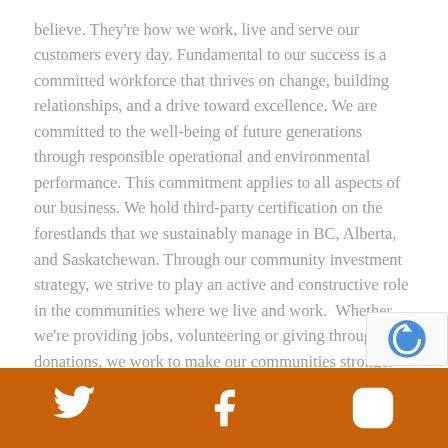believe. They're how we work, live and serve our customers every day. Fundamental to our success is a committed workforce that thrives on change, building relationships, and a drive toward excellence. We are committed to the well-being of future generations through responsible operational and environmental performance. This commitment applies to all aspects of our business. We hold third-party certification on the forestlands that we sustainably manage in BC, Alberta, and Saskatchewan. Through our community investment strategy, we strive to play an active and constructive role in the communities where we live and work.  Whether we're providing jobs, volunteering or giving through donations, we work to make our communities stronger and more vibrant through active participation.

When you join Tolko, you're saying yes to a company that has been built on integrity, respect, and provides employe
Twitter, Facebook, Instagram icons